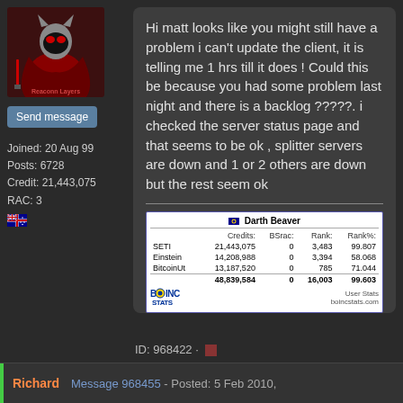[Figure (photo): User avatar showing a cartoon cat character dressed in red Sith robes with a lightsaber, with text 'Reaconn Layers' below]
Send message
Joined: 20 Aug 99
Posts: 6728
Credit: 21,443,075
RAC: 3
Hi matt looks like you might still have a problem i can't update the client, it is telling me 1 hrs till it does ! Could this be because you had some problem last night and there is a backlog ?????. i checked the server status page and that seems to be ok , splitter servers are down and 1 or 2 others are down but the rest seem ok
[Figure (table-as-image): BOINCstats table showing Darth Beaver's credits: SETI 21,443,075 Rank 3,483 99.807; Einstein 14,208,988 Rank 3,394 58.068; BitcoinUt 13,187,520 Rank 785 71.044; Total 48,839,584 BSrac 0 Rank 16,003 99.603]
ID: 968422 ·
Richard
Message 968455 - Posted: 5 Feb 2010,